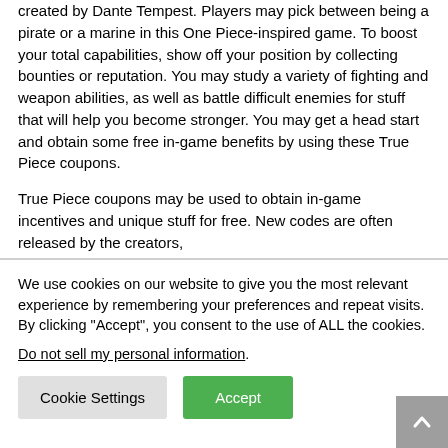created by Dante Tempest. Players may pick between being a pirate or a marine in this One Piece-inspired game. To boost your total capabilities, show off your position by collecting bounties or reputation. You may study a variety of fighting and weapon abilities, as well as battle difficult enemies for stuff that will help you become stronger. You may get a head start and obtain some free in-game benefits by using these True Piece coupons.
True Piece coupons may be used to obtain in-game incentives and unique stuff for free. New codes are often released by the creators,
We use cookies on our website to give you the most relevant experience by remembering your preferences and repeat visits. By clicking "Accept", you consent to the use of ALL the cookies.
Do not sell my personal information.